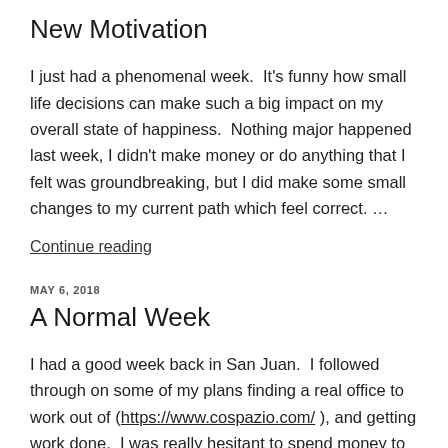New Motivation
I just had a phenomenal week.  It's funny how small life decisions can make such a big impact on my overall state of happiness.  Nothing major happened last week, I didn't make money or do anything that I felt was groundbreaking, but I did make some small changes to my current path which feel correct. …
Continue reading
MAY 6, 2018
A Normal Week
I had a good week back in San Juan.  I followed through on some of my plans finding a real office to work out of (https://www.cospazio.com/ ), and getting work done.  I was really hesitant to spend money to sit at a desk when